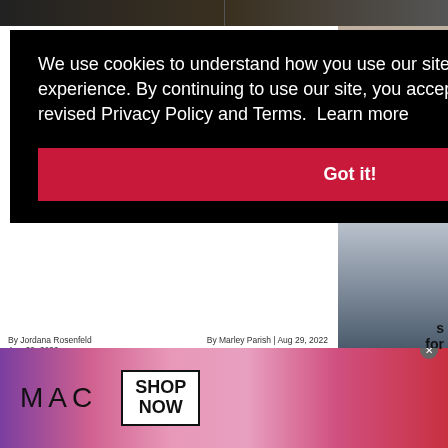[Figure (screenshot): Top strip showing two partially visible news article thumbnail images on dark background]
[Figure (photo): Right side partially visible photo of a person in dark suit near a flag]
We use cookies to understand how you use our site and to improve your experience. By continuing to use our site, you accept our use of cookies, revised Privacy Policy and Terms.  Learn more
Got it!
s for
By Jordana Rosenfeld
Aug 29, 2022
By Marley Parish | Aug 29, 2022
ADVERTISE
ABOUT US
EMPLOYMENT
CONTACT US
COMMENTS/PRIVACY POLICY
RSS FEED
[Figure (photo): Advertisement banner for MAC cosmetics showing lipsticks, MAC logo, and SHOP NOW button]